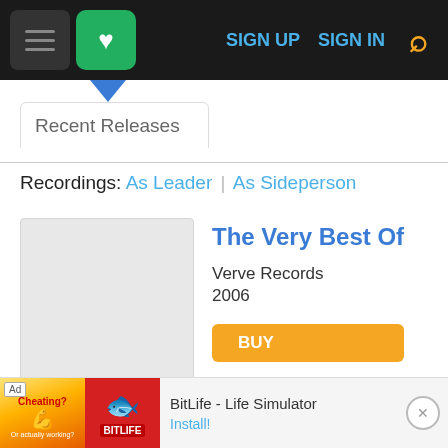[Figure (screenshot): Website navigation bar with hamburger menu, green heart button, SIGN UP, SIGN IN links, and yellow search icon on black background]
Recent Releases
Recordings: As Leader | As Sideperson
[Figure (illustration): Gray placeholder album cover image]
The Very Best Of
Verve Records
2006
BUY
[Figure (screenshot): Ad banner for BitLife - Life Simulator app with orange/red artwork, Ad label, and Install button]